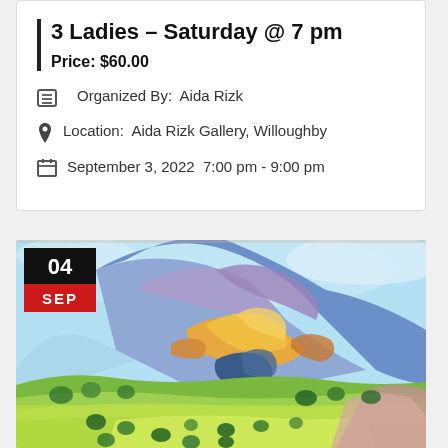3 Ladies – Saturday @ 7 pm
Price: $60.00
Organized By:  Aida Rizk
Location:  Aida Rizk Gallery, Willoughby
September 3, 2022  7:00 pm - 9:00 pm
[Figure (illustration): Colorful expressionist painting of a mountain landscape with blue/purple mountains, orange and yellow rocky outcroppings, green fields and scattered trees, with a date badge showing 04 SEP in the top-left corner]